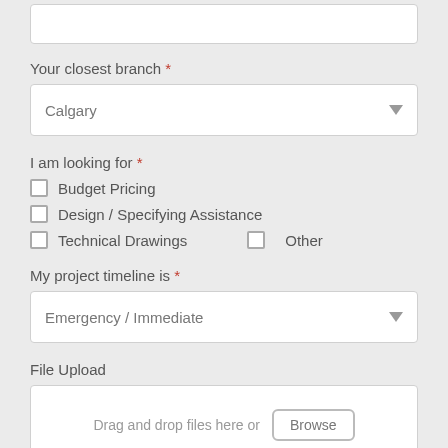Your closest branch *
Calgary (dropdown)
I am looking for *
Budget Pricing (checkbox)
Design / Specifying Assistance (checkbox)
Technical Drawings (checkbox)   Other (checkbox)
My project timeline is *
Emergency / Immediate (dropdown)
File Upload
Drag and drop files here or Browse
Tell us more about your project *